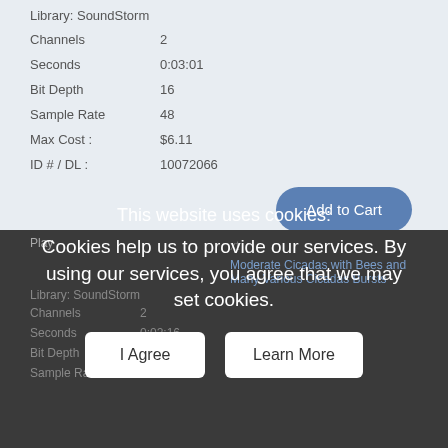Library: SoundStorm
| Channels | 2 |
| Seconds | 0:03:01 |
| Bit Depth | 16 |
| Sample Rate | 48 |
| Max Cost : | $6.11 |
| ID # / DL : | 10072066 |
Add to Cart
Play
This website uses cookies:
Cookies help us to provide our services. By using our services, you agree that we may set cookies.
I Agree
Learn More
Moderate Cicadas with Bees and Many Various Cicadas Bursts
Library: SoundStorm
| Channels | 2 |
| Seconds | 0:02:16 |
| Bit Depth | 16 |
| Sample Rate | 48 |